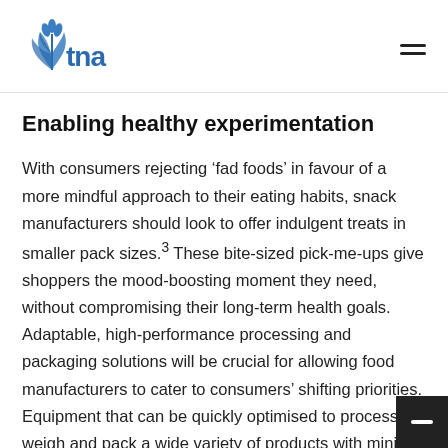tna logo and navigation menu
Enabling healthy experimentation
With consumers rejecting ‘fad foods’ in favour of a more mindful approach to their eating habits, snack manufacturers should look to offer indulgent treats in smaller pack sizes.³ These bite-sized pick-me-ups give shoppers the mood-boosting moment they need, without compromising their long-term health goals. Adaptable, high-performance processing and packaging solutions will be crucial for allowing food manufacturers to cater to consumers’ shifting priorities. Equipment that can be quickly optimised to process, weigh and pack a wide variety of products with minimal changeover times offers brands the opportunity for greater NPD experimentation, without impacting the production of its tried-and-true